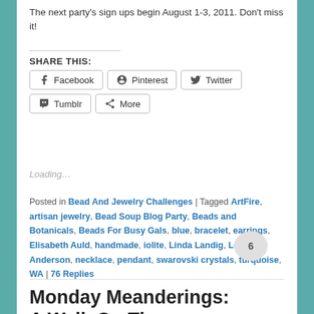The next party's sign ups begin August 1-3, 2011. Don't miss it!
SHARE THIS:
Facebook | Pinterest | Twitter | Tumblr | More
Loading...
Posted in Bead And Jewelry Challenges | Tagged ArtFire, artisan jewelry, Bead Soup Blog Party, Beads and Botanicals, Beads For Busy Gals, blue, bracelet, earrings, Elisabeth Auld, handmade, iolite, Linda Landig, Lori Anderson, necklace, pendant, swarovski crystals, turquoise, WA | 76 Replies
Monday Meanderings: A Walk On The
6